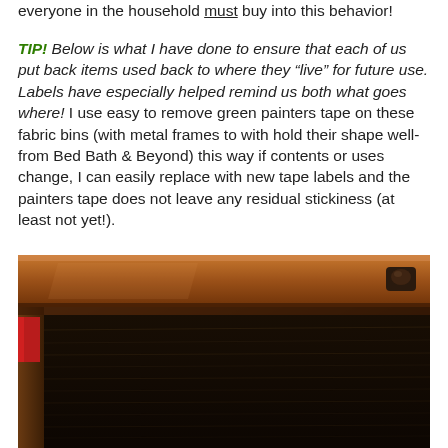everyone in the household must buy into this behavior!
TIP! Below is what I have done to ensure that each of us put back items used back to where they “live” for future use. Labels have especially helped remind us both what goes where! I use easy to remove green painters tape on these fabric bins (with metal frames to with hold their shape well- from Bed Bath & Beyond) this way if contents or uses change, I can easily replace with new tape labels and the painters tape does not leave any residual stickiness (at least not yet!).
[Figure (photo): Close-up photo of the inside of a wooden cabinet or drawer, showing a wooden shelf/panel with a dark metal knob in the upper right corner, a red item partially visible on the left edge, and a dark black surface below with faint horizontal texture lines.]